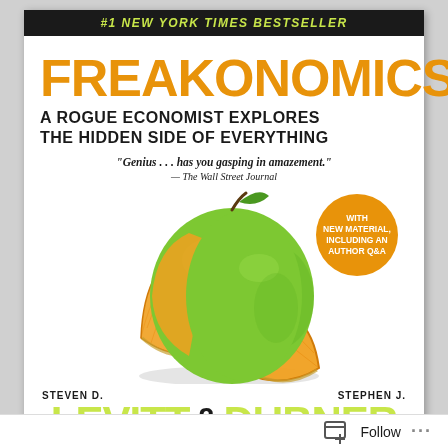#1 NEW YORK TIMES BESTSELLER
FREAKONOMICS
A ROGUE ECONOMIST EXPLORES THE HIDDEN SIDE OF EVERYTHING
"Genius . . . has you gasping in amazement." — The Wall Street Journal
[Figure (illustration): Book cover illustration: a green apple sliced open to reveal orange tangerine segments inside, with a loose tangerine wedge in front, on a white background. An orange circular badge reads: WITH NEW MATERIAL, INCLUDING AN AUTHOR Q&A]
STEVEN D. LEVITT & STEPHEN J. DUBNER